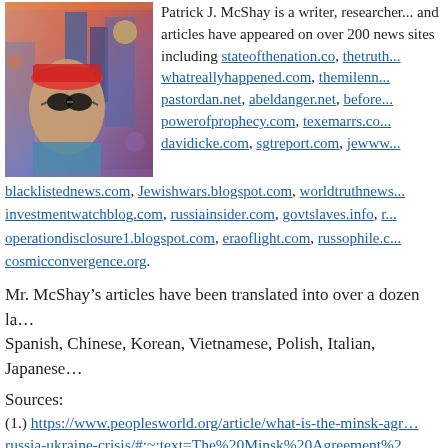[Figure (photo): Stylized/illustrated portrait of a man wearing goggles and a cap, with a colorful urban background in a painterly/filter style.]
Patrick J. McShay is a writer, researcher... have appeared on over 200 news sites including stateofthenation.co, thetru... whatreallyhappened.com, themilenn... pastordan.net, abeldanger.net, before... powerofprophecy.com, texemarrs.co... davidicke.com, sgtreport.com, jewww... blacklistednews.com, Jewishwars.blogspot.com, worldtruthnew... investmentwatchblog.com, russiainsider.com, govtslaves.info, r... operationdisclosure1.blogspot.com, eraoflight.com, russophile.c... cosmicconvergence.org.
Mr. McShay’s articles have been translated into over a dozen la... Spanish, Chinese, Korean, Vietnamese, Polish, Italian, Japanese...
Sources:
(1.) https://www.peoplesworld.org/article/what-is-the-minsk-ag... russia-ukraine-crisis/#:~:text=The%20Minsk%20Agreement%2... 20in%20the%20context,the%20protesters%20following%20Cri...